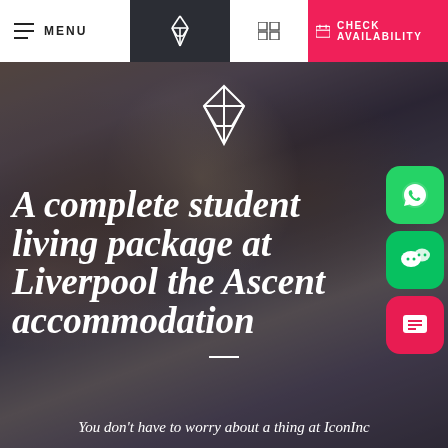MENU | [logo] | [grid icon] | CHECK AVAILABILITY
[Figure (illustration): Group of students socializing around a table with food and drinks, dark overlay background]
[Figure (logo): Diamond/heart geometric icon in white]
A complete student living package at Liverpool the Ascent accommodation
You don't have to worry about a thing at IconInc